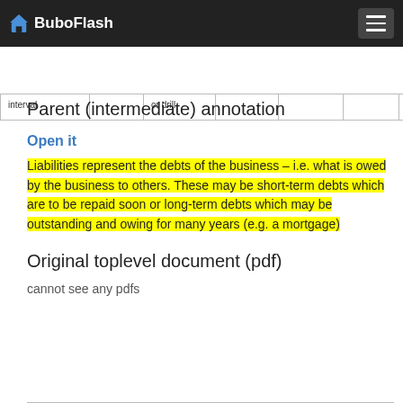BuboFlash
| interval |  | or drill |  |  |  |
Parent (intermediate) annotation
Open it
Liabilities represent the debts of the business – i.e. what is owed by the business to others. These may be short-term debts which are to be repaid soon or long-term debts which may be outstanding and owing for many years (e.g. a mortgage)
Original toplevel document (pdf)
cannot see any pdfs